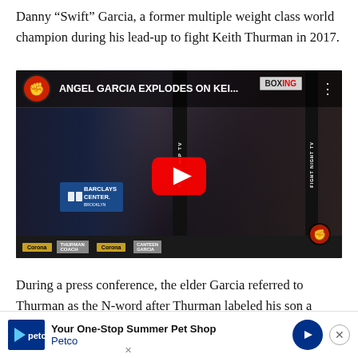Danny “Swift” Garcia, a former multiple weight class world champion during his lead-up to fight Keith Thurman in 2017.
[Figure (screenshot): YouTube video thumbnail showing a press conference. Title reads 'ANGEL GARCIA EXPLODES ON KEI...' with channel icon. Scene shows men at a podium with Barclays Center signage and Corona beer branding. Large red YouTube play button in center.]
During a press conference, the elder Garcia referred to Thurman as the N-word after Thurman labeled his son a “cherry picker” ... shame
[Figure (other): Petco advertisement banner: 'Your One-Stop Summer Pet Shop' with Petco logo and blue arrow icon, and close button.]